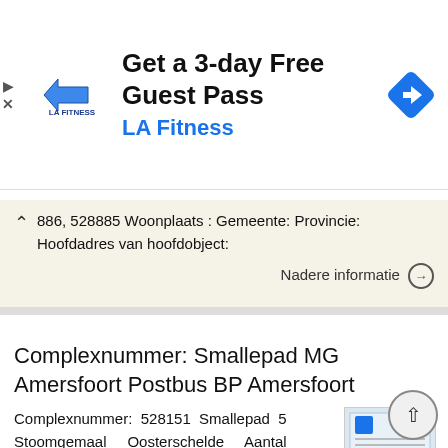[Figure (infographic): LA Fitness advertisement banner: logo on left, heading 'Get a 3-day Free Guest Pass', subtitle 'LA Fitness', blue navigation arrow icon on right, play/close icons on far left]
886, 528885 Woonplaats : Gemeente: Provincie: Hoofdadres van hoofdobject:
Nadere informatie →
Complexnummer: Smallepad MG Amersfoort Postbus BP Amersfoort
Complexnummer: 528151 Smallepad 5 Stoomgemaal Oosterschelde Aantal complexonderdelen: Monumentnummers van complexonderdelen: 3 528153, 528152, 527465 Woonplaats : Gemeente: Provincie: Hoofdadres van hoofdobject:
Nadere informatie →